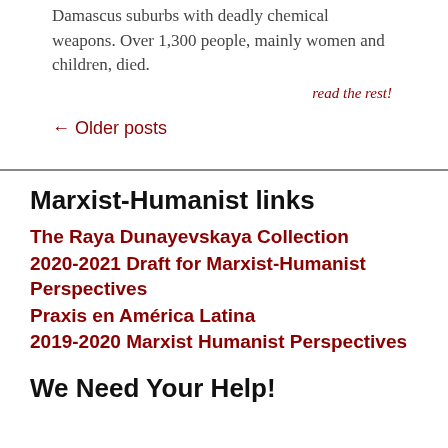Damascus suburbs with deadly chemical weapons. Over 1,300 people, mainly women and children, died.
read the rest!
← Older posts
Marxist-Humanist links
The Raya Dunayevskaya Collection
2020-2021 Draft for Marxist-Humanist Perspectives
Praxis en América Latina
2019-2020 Marxist Humanist Perspectives
We Need Your Help!